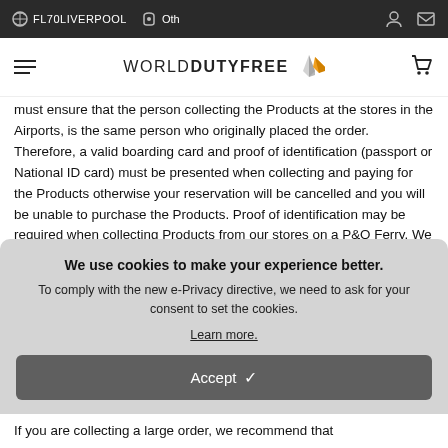FL70LIVERPOOL  Oth
[Figure (logo): World Duty Free logo with stylized arrow/cone icon]
must ensure that the person collecting the Products at the stores in the Airports, is the same person who originally placed the order. Therefore, a valid boarding card and proof of identification (passport or National ID card) must be presented when collecting and paying for the Products otherwise your reservation will be cancelled and you will be unable to purchase the Products. Proof of identification may be required when collecting Products from our stores on a P&O Ferry. We reserve the right to
We use cookies to make your experience better. To comply with the new e-Privacy directive, we need to ask for your consent to set the cookies. Learn more. Accept
If you are collecting a large order, we recommend that